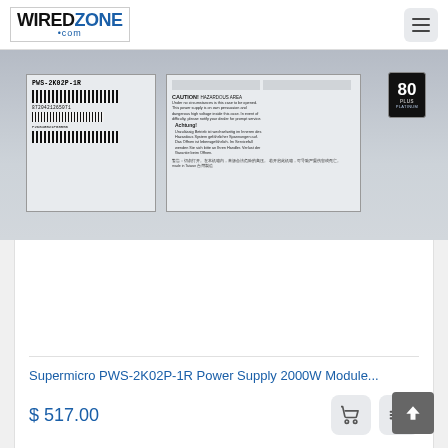WiredZone.com navigation header with logo and menu icon
[Figure (photo): Supermicro PWS-2K02P-1R power supply unit showing label with barcode, caution text in multiple languages, and 80 Plus Platinum certification badge]
Supermicro PWS-2K02P-1R Power Supply 2000W Module...
$ 517.00
[Figure (other): Shopping cart icon button and compare icon button]
Back to top button